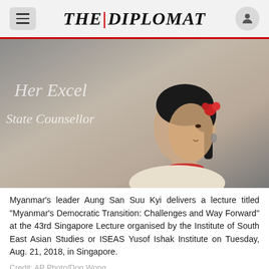THE DIPLOMAT
[Figure (photo): Aung San Suu Kyi speaking at a podium in front of a banner reading 'Her Excellency State Counsellor' with a red flower in her hair and a red necklace, wearing light-colored clothing.]
Myanmar’s leader Aung San Suu Kyi delivers a lecture titled “Myanmar’s Democratic Transition: Challenges and Way Forward” at the 43rd Singapore Lecture organised by the Institute of South East Asian Studies or ISEAS Yusof Ishak Institute on Tuesday, Aug. 21, 2018, in Singapore.
Credit: AP Photo/Don Wong